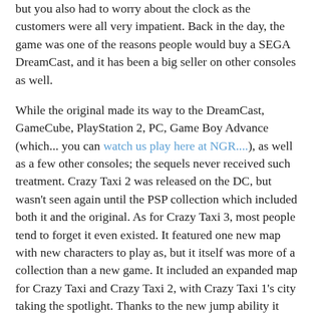but you also had to worry about the clock as the customers were all very impatient. Back in the day, the game was one of the reasons people would buy a SEGA DreamCast, and it has been a big seller on other consoles as well.
While the original made its way to the DreamCast, GameCube, PlayStation 2, PC, Game Boy Advance (which... you can watch us play here at NGR....), as well as a few other consoles; the sequels never received such treatment. Crazy Taxi 2 was released on the DC, but wasn't seen again until the PSP collection which included both it and the original. As for Crazy Taxi 3, most people tend to forget it even existed. It featured one new map with new characters to play as, but it itself was more of a collection than a new game. It included an expanded map for Crazy Taxi and Crazy Taxi 2, with Crazy Taxi 1's city taking the spotlight. Thanks to the new jump ability it made the classic Crazy Taxi we all knew and love feel fresh, but it really wasn't anything new. (Although, unlike 2, it did receive an arcade release.)
So, where did the series go from there? It didn't. Port after port soon followed, and aside from cameos in other SEGA games, the series dropped off the grid. Until now that is...